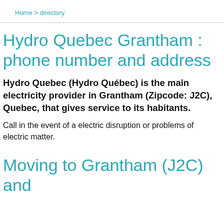Home > directory
Hydro Quebec Grantham : phone number and address
Hydro Quebec (Hydro Québec) is the main electricity provider in Grantham (Zipcode: J2C), Quebec, that gives service to its habitants.
Call in the event of a electric disruption or problems of electric matter.
Moving to Grantham (J2C) and